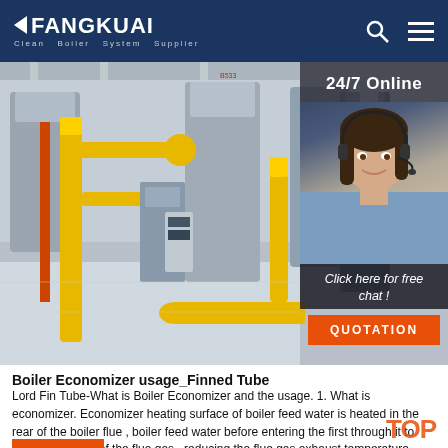FANGKUAI Clean Boiler System Supplier
[Figure (photo): Industrial boiler room with yellow pipes, gas pipes, and industrial equipment. Right side has a customer service representative with headset overlay panel showing '24/7 Online', 'Click here for free chat!', and 'QUOTATION' button.]
Boiler Economizer usage_Finned Tube
Lord Fin Tube-What is Boiler Economizer and the usage. 1. What is economizer. Economizer heating surface of boiler feed water is heated in the rear of the boiler flue , boiler feed water before entering the first through it to absorb the heat of the flue gas , reducing the flue gas exhaust temperature , saving energy , improving the efficiency of the so called economizer .